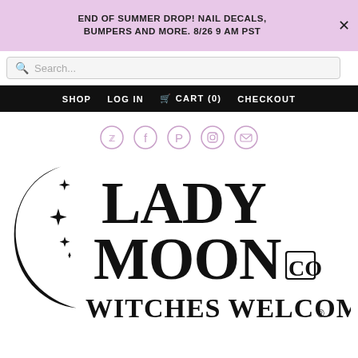END OF SUMMER DROP! NAIL DECALS, BUMPERS AND MORE. 8/26 9 AM PST
Search...
SHOP  LOG IN  CART (0)  CHECKOUT
[Figure (logo): Social media icons row: Twitter, Facebook, Pinterest, Instagram, Email — each in a pink circle outline]
[Figure (logo): Lady Moon Co. logo — large black decorative text reading LADY MOON CO with a crescent moon and stars on the left, and WITCHES WELCOME below, with registered trademark symbol]